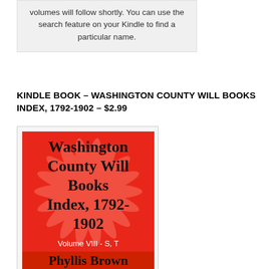volumes will follow shortly. You can use the search feature on your Kindle to find a particular name.
KINDLE BOOK – WASHINGTON COUNTY WILL BOOKS INDEX, 1792-1902 – $2.99
[Figure (illustration): Book cover for Washington County Will Books Index, 1792-1902, Volume VIII - S, T by Phyllis Brown. Red background with decorative starburst pattern. Title text in large black letters, with 'Volume VIII - S, T' in white on red, and author name 'Phyllis Brown' in large black text on orange/red band at bottom.]